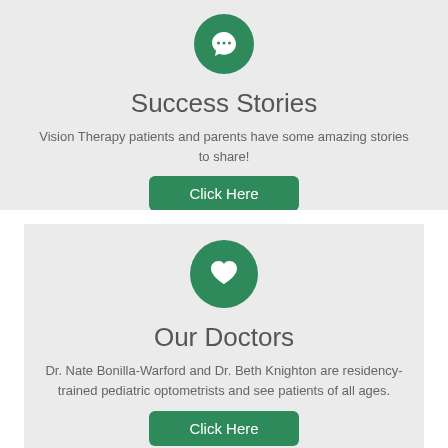[Figure (illustration): Green circle icon with a white speech/chat bubble symbol]
Success Stories
Vision Therapy patients and parents have some amazing stories to share!
[Figure (illustration): Green circle icon with a white heart symbol]
Our Doctors
Dr. Nate Bonilla-Warford and Dr. Beth Knighton are residency-trained pediatric optometrists and see patients of all ages.